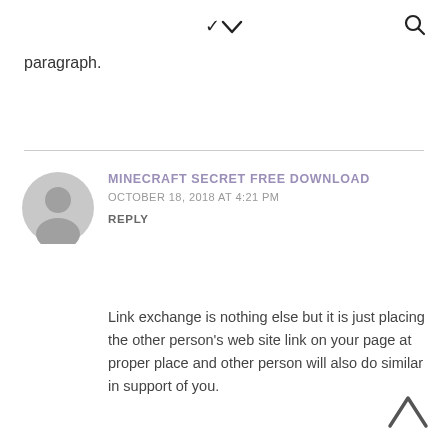▾  🔍
paragraph.
MINECRAFT SECRET FREE DOWNLOAD
OCTOBER 18, 2018 AT 4:21 PM
REPLY
Link exchange is nothing else but it is just placing the other person's web site link on your page at proper place and other person will also do similar in support of you.